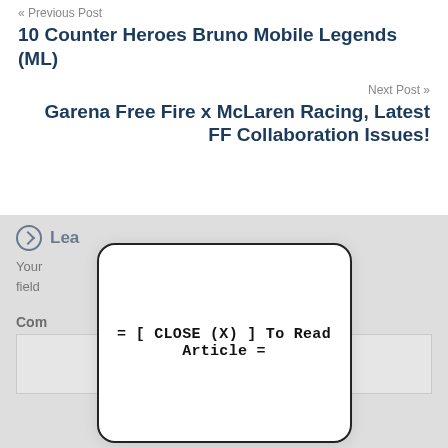« Previous Post
10 Counter Heroes Bruno Mobile Legends (ML)
Next Post »
Garena Free Fire x McLaren Racing, Latest FF Collaboration Issues!
Leave a Reply
Your email address will not be published. Required fields are marked *
Comment *
[Figure (screenshot): Modal dialog box with text '= [ CLOSE (X) ] To Read Article =']